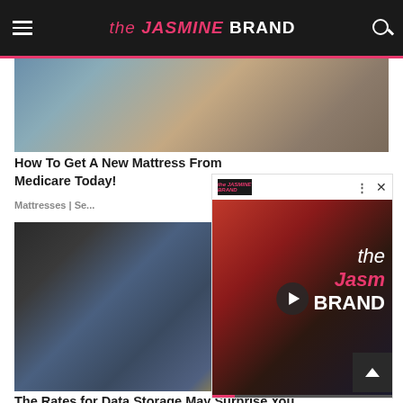the JASMINE BRAND
[Figure (photo): Partial top image showing a room with furniture, cropped at top]
How To Get A New Mattress From Medicare Today!
Mattresses | Se...
[Figure (photo): A person in blue workwear operating industrial/manufacturing equipment with a control panel]
[Figure (screenshot): Video overlay popup showing the Jasmine Brand logo and a man in a red jacket, with play button controls]
The Rates for Data Storage May Surprise You